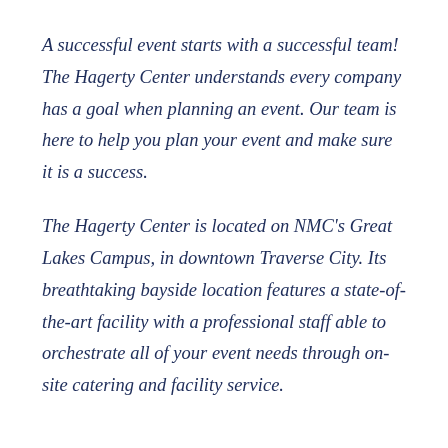A successful event starts with a successful team! The Hagerty Center understands every company has a goal when planning an event. Our team is here to help you plan your event and make sure it is a success.
The Hagerty Center is located on NMC's Great Lakes Campus, in downtown Traverse City. Its breathtaking bayside location features a state-of-the-art facility with a professional staff able to orchestrate all of your event needs through on-site catering and facility service.